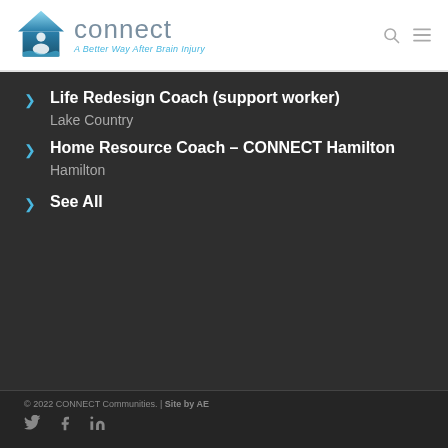[Figure (logo): CONNECT – A Better Way After Brain Injury logo with house icon]
Life Redesign Coach (support worker)
Lake Country
Home Resource Coach – CONNECT Hamilton
Hamilton
See All
© 2022 CONNECT Communities. | Site by AE
[Figure (illustration): Social media icons: Twitter, Facebook, LinkedIn]